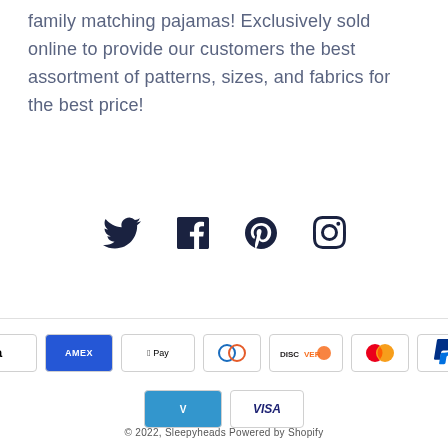family matching pajamas! Exclusively sold online to provide our customers the best assortment of patterns, sizes, and fabrics for the best price!
[Figure (infographic): Social media icons: Twitter, Facebook, Pinterest, Instagram in dark navy color]
[Figure (infographic): Payment method badges: Amazon, Amex, Apple Pay, Diners Club, Discover, Mastercard, PayPal, Venmo, Visa]
© 2022, Sleepyheads Powered by Shopify